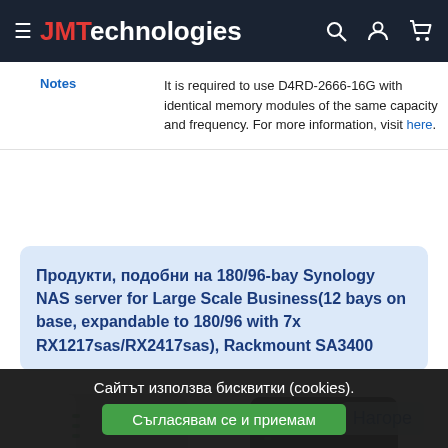JMTechnologies
| Notes | Description |
| --- | --- |
| Notes | It is required to use D4RD-2666-16G with identical memory modules of the same capacity and frequency. For more information, visit here. |
Продукти, подобни на 180/96-bay Synology NAS server for Large Scale Business(12 bays on base, expandable to 180/96 with 7x RX1217sas/RX2417sas), Rackmount SA3400
[Figure (photo): Two Synology NAS devices side by side - one light gray and one black, with a 'Нагоре' scroll-up button and Surveillance Station badge visible on the right]
Сайтът използва бисквитки (cookies).
Съгласявам се и приемам